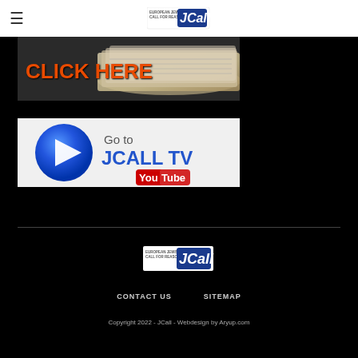JCall – European Jewish Call for Reason
[Figure (screenshot): Click Here banner with newspaper/stacked papers image and orange bold text 'CLICK HERE']
[Figure (screenshot): Go to JCALL TV YouTube banner with blue play button and YouTube logo]
[Figure (logo): JCall – European Jewish Call for Reason logo (footer)]
CONTACT US   SITEMAP
Copyright 2022 - JCall - Webdesign by Aryup.com